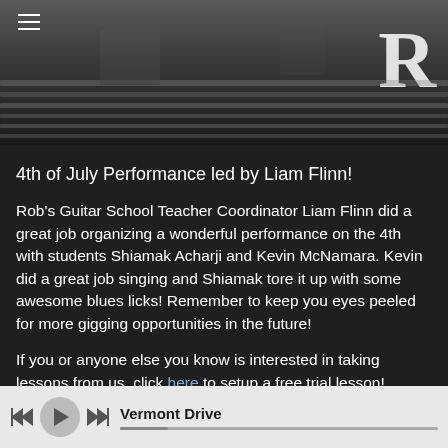[Figure (photo): Top banner image showing a dark background with a car interior or garage scene. Hamburger menu icon in top left. Large bold letter R in top right corner.]
4th of July Performance led by Liam Flinn!
Rob's Guitar School Teacher Coordinator Liam Flinn did a great job organizing a wonderful performance on the 4th with students Shiamak Acharji and Kevin McNamara. Kevin did a great job singing and Shiamak tore it up with some awesome blues licks! Remember to keep you eyes peeled for more gigging opportunities in the future!
If you or anyone else you know is interested in taking lessons from us, click here to setup a free trial lesson!
Here are more photos of Kevin and Shiamak in this great
Vermont Drive